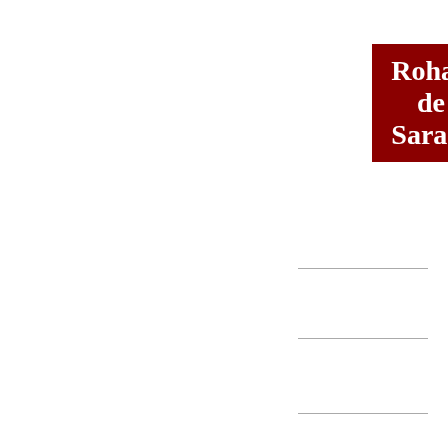Rohan de Saram
[Figure (other): Records box showing 4 records with text: With Ben Frith (piano) - (website)]
4 records
With Ben Frith (piano) - (website)